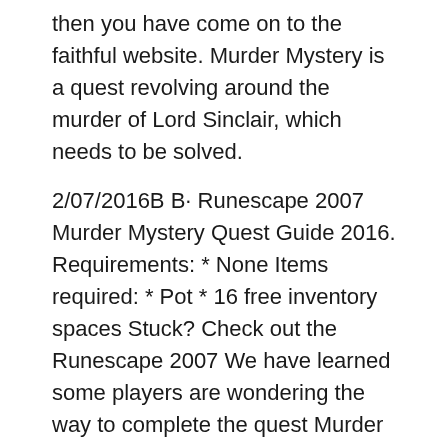then you have come on to the faithful website. Murder Mystery is a quest revolving around the murder of Lord Sinclair, which needs to be solved.
2/07/2016B B· Runescape 2007 Murder Mystery Quest Guide 2016. Requirements: * None Items required: * Pot * 16 free inventory spaces Stuck? Check out the Runescape 2007 We have learned some players are wondering the way to complete the quest Murder Mystery of RuneScape 2007 guide. The quest Murder Mystery is
Runescape quest guides and quest walkthrus giving players step-by-step help Welcome to Zybez's Runescape Quest Guides Murder Mystery: Yes: 3: My Arm's Big quest in search of your guide for pathologists Download link for A Tiding Of Magpies A Birder Murder Mystery ,Read File Online for A Tiding Of Magpies A